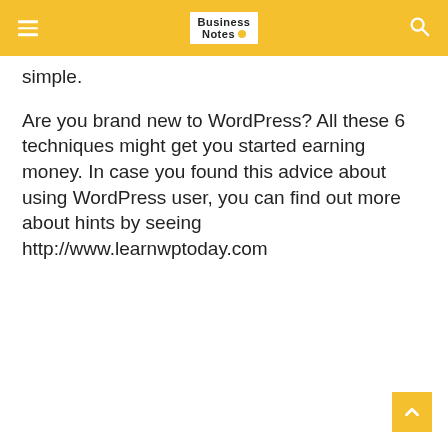Business Notes
simple.
Are you brand new to WordPress? All these 6 techniques might get you started earning money. In case you found this advice about using WordPress user, you can find out more about hints by seeing http://www.learnwptoday.com